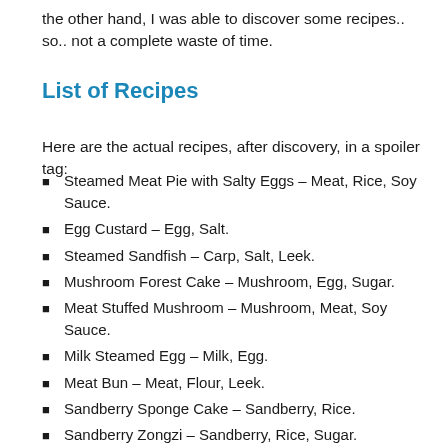the other hand, I was able to discover some recipes.. so.. not a complete waste of time.
List of Recipes
Here are the actual recipes, after discovery, in a spoiler tag:
Steamed Meat Pie with Salty Eggs – Meat, Rice, Soy Sauce.
Egg Custard – Egg, Salt.
Steamed Sandfish – Carp, Salt, Leek.
Mushroom Forest Cake – Mushroom, Egg, Sugar.
Meat Stuffed Mushroom – Mushroom, Meat, Soy Sauce.
Milk Steamed Egg – Milk, Egg.
Meat Bun – Meat, Flour, Leek.
Sandberry Sponge Cake – Sandberry, Rice.
Sandberry Zongzi – Sandberry, Rice, Sugar.
Fine Sandberry Zongzi – Sandberry, Sandrice, Meat, Ant Honey.